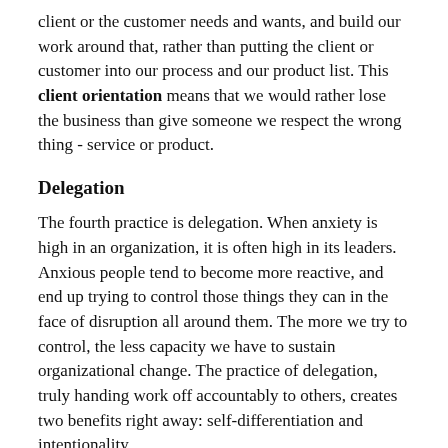client or the customer needs and wants, and build our work around that, rather than putting the client or customer into our process and our product list. This client orientation means that we would rather lose the business than give someone we respect the wrong thing - service or product.
Delegation
The fourth practice is delegation. When anxiety is high in an organization, it is often high in its leaders. Anxious people tend to become more reactive, and end up trying to control those things they can in the face of disruption all around them. The more we try to control, the less capacity we have to sustain organizational change. The practice of delegation, truly handing work off accountably to others, creates two benefits right away: self-differentiation and intentionality.